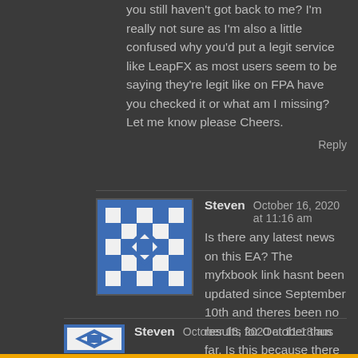you still haven't got back to me? I'm really not sure as I'm also a little confused why you'd put a legit service like LeapFX as most users seem to be saying they're legit like on FPA have you checked it or what am I missing? Let me know please Cheers.
Reply
Steven   October 16, 2020 at 11:16 am
Is there any latest news on this EA? The myfxbook link hasnt been updated since September 10th and theres been no results for October thus far. Is this because there hasnt been sufficient criteria to trade on GBPUSD in 5 weeks or something more sinister like getting people to signup based on past results, pay a membership then no trades are made?! I hope it's not the latter..
Reply
Steven   October 16, 2020 at 11:18 am